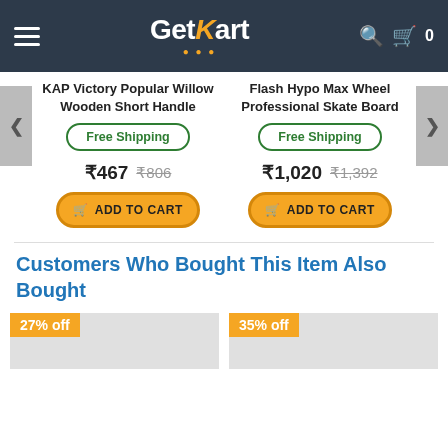GetKart
KAP Victory Popular Willow Wooden Short Handle
Flash Hypo Max Wheel Professional Skate Board
Free Shipping
Free Shipping
₹467  ₹806
₹1,020  ₹1,392
ADD TO CART
ADD TO CART
Customers Who Bought This Item Also Bought
27% off
35% off